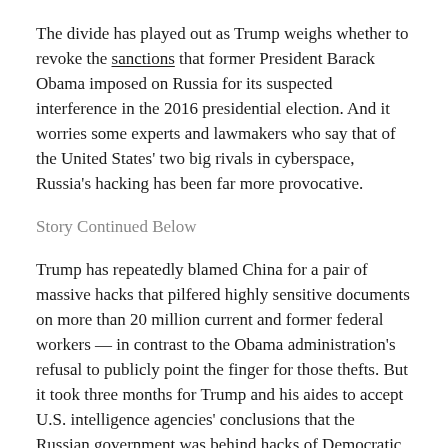The divide has played out as Trump weighs whether to revoke the sanctions that former President Barack Obama imposed on Russia for its suspected interference in the 2016 presidential election. And it worries some experts and lawmakers who say that of the United States' two big rivals in cyberspace, Russia's hacking has been far more provocative.
Story Continued Below
Trump has repeatedly blamed China for a pair of massive hacks that pilfered highly sensitive documents on more than 20 million current and former federal workers — in contrast to the Obama administration's refusal to publicly point the finger for those thefts. But it took three months for Trump and his aides to accept U.S. intelligence agencies' conclusions that the Russian government was behind hacks of Democratic Party emails that helped undermine Hillary Clinton's campaign.
While both cyberattacks were serious, senior lawmakers from both parties have called the election hacks — and subsequent leaks of